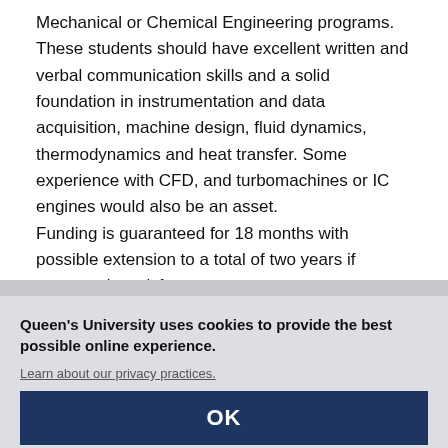Mechanical or Chemical Engineering programs. These students should have excellent written and verbal communication skills and a solid foundation in instrumentation and data acquisition, machine design, fluid dynamics, thermodynamics and heat transfer. Some experience with CFD, and turbomachines or IC engines would also be an asset. Funding is guaranteed for 18 months with possible extension to a total of two years if progress is satisfactory.
Queen's University uses cookies to provide the best possible online experience.
Learn about our privacy practices.
OK